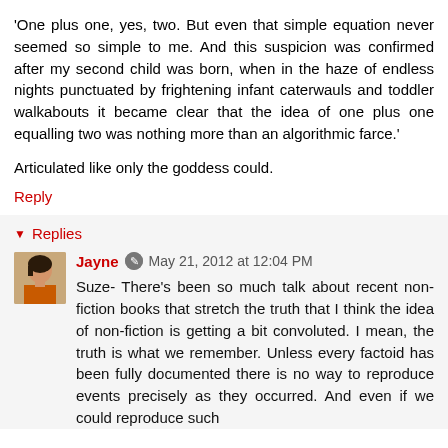'One plus one, yes, two. But even that simple equation never seemed so simple to me. And this suspicion was confirmed after my second child was born, when in the haze of endless nights punctuated by frightening infant caterwauls and toddler walkabouts it became clear that the idea of one plus one equalling two was nothing more than an algorithmic farce.'
Articulated like only the goddess could.
Reply
Replies
Jayne  May 21, 2012 at 12:04 PM
Suze- There's been so much talk about recent non-fiction books that stretch the truth that I think the idea of non-fiction is getting a bit convoluted. I mean, the truth is what we remember. Unless every factoid has been fully documented there is no way to reproduce events precisely as they occurred. And even if we could reproduce such events, that, in itself, still continues the reality...